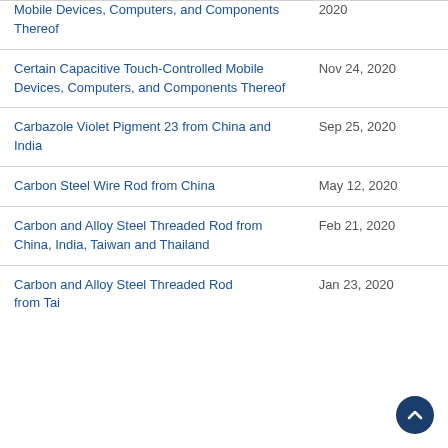| Case Name | Date |
| --- | --- |
| Mobile Devices, Computers, and Components Thereof | 2020 |
| Certain Capacitive Touch-Controlled Mobile Devices, Computers, and Components Thereof | Nov 24, 2020 |
| Carbazole Violet Pigment 23 from China and India | Sep 25, 2020 |
| Carbon Steel Wire Rod from China | May 12, 2020 |
| Carbon and Alloy Steel Threaded Rod from China, India, Taiwan and Thailand | Feb 21, 2020 |
| Carbon and Alloy Steel Threaded Rod from Taiwan | Jan 23, 2020 |